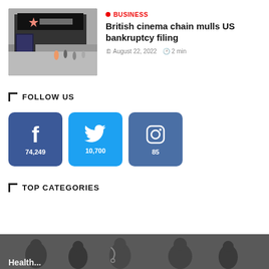[Figure (photo): Cineworld cinema exterior with street scene]
BUSINESS
British cinema chain mulls US bankruptcy filing
August 22, 2022  2 min
FOLLOW US
[Figure (infographic): Facebook 74,249 | Twitter 10,700 | Instagram 85]
TOP CATEGORIES
[Figure (photo): Healthcare category image at bottom]